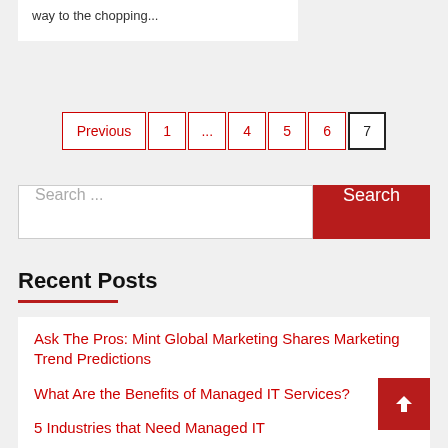way to the chopping...
Previous  1  ...  4  5  6  7
Search ...  Search
Recent Posts
Ask The Pros: Mint Global Marketing Shares Marketing Trend Predictions
What Are the Benefits of Managed IT Services?
5 Industries that Need Managed IT
Jurgen Cautreels Shares Top Marketing Mistakes